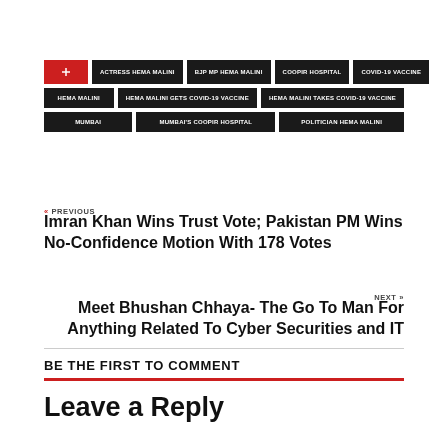ACTRESS HEMA MALINI
BJP MP HEMA MALINI
COOPIR HOSPITAL
COVID-19 VACCINE
HEMA MALINI
HEMA MALINI GETS COVID-19 VACCINE
HEMA MALINI TAKES COVID-19 VACCINE
MUMBAI
MUMBAI'S COOPIR HOSPITAL
POLITICIAN HEMA MALINI
« PREVIOUS
Imran Khan Wins Trust Vote; Pakistan PM Wins No-Confidence Motion With 178 Votes
NEXT »
Meet Bhushan Chhaya- The Go To Man For Anything Related To Cyber Securities and IT
BE THE FIRST TO COMMENT
Leave a Reply